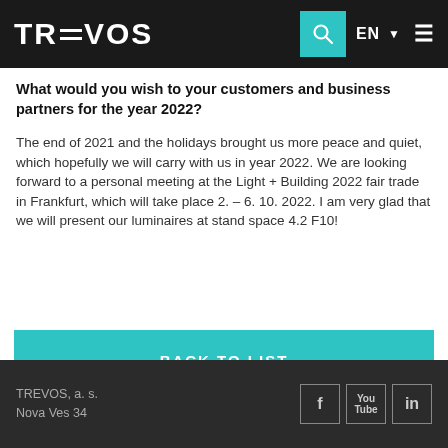TREVOS
What would you wish to your customers and business partners for the year 2022?
The end of 2021 and the holidays brought us more peace and quiet, which hopefully we will carry with us in year 2022. We are looking forward to a personal meeting at the Light + Building 2022 fair trade in Frankfurt, which will take place 2. – 6. 10. 2022. I am very glad that we will present our luminaires at stand space 4.2 F10!
BACK TO LIST
TREVOS, a. s.
Nova Ves 34